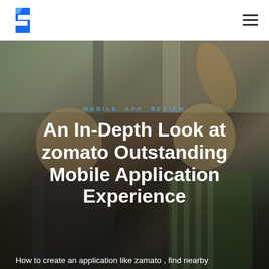MOBILE APP REVIEW
An In-Depth Look at zomato Outstanding Mobile Application Experience
How to create an application like zamato , find nearby
[Figure (photo): Background photo of two excited children celebrating, blurred/bokeh effect. Two boys with mouths open cheering, one raising fist.]